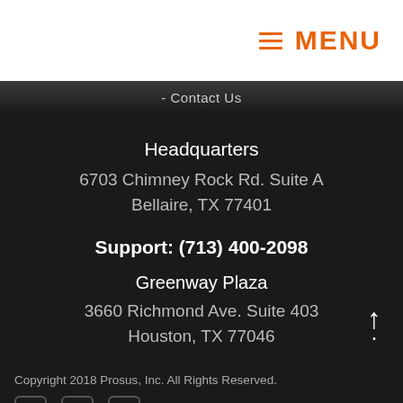≡ MENU
- Contact Us
Headquarters
6703 Chimney Rock Rd. Suite A
Bellaire, TX 77401
Support: (713) 400-2098
Greenway Plaza
3660 Richmond Ave. Suite 403
Houston, TX 77046
Copyright 2018 Prosus, Inc. All Rights Reserved.
Powered By Prosus